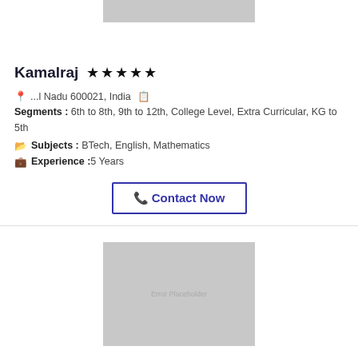[Figure (photo): Top placeholder image (gray rectangle)]
Kamalraj ★★★★★
📍 ...l Nadu 600021, India   🗒 Segments : 6th to 8th, 9th to 12th, College Level, Extra Curricular, KG to 5th
🗂 Subjects : BTech, English, Mathematics
💼 Experience :5 Years
📞 Contact Now
[Figure (photo): Bottom placeholder image (gray rectangle) with text 'Error Placeholder']